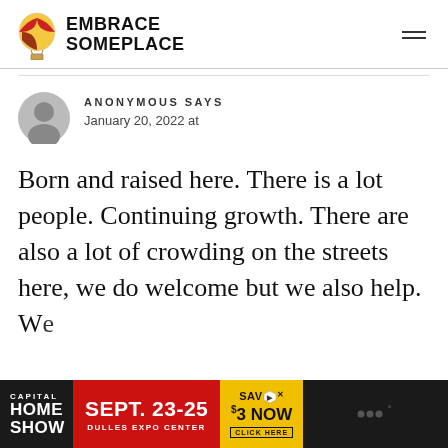EMBRACE SOMEPLACE
ANONYMOUS SAYS
January 20, 2022 at
Born and raised here. There is a lot people. Continuing growth. There are also a lot of crowding on the streets here, we do welcome but we also help. We are friendly and but we choose a...
[Figure (screenshot): Capital Home Show advertisement banner: SEPT. 23-25, DULLES EXPO CENTER, SAVE $3 NOW, CLICK HERE]